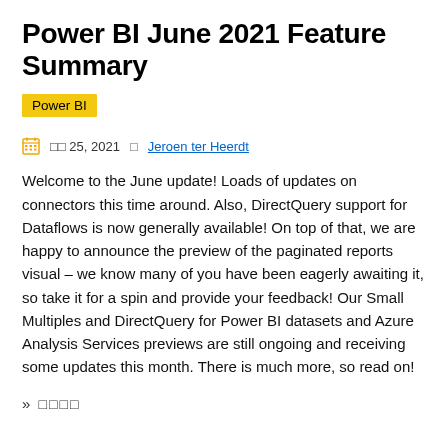Power BI June 2021 Feature Summary
Power BI
□□ 25, 2021 □ Jeroen ter Heerdt
Welcome to the June update! Loads of updates on connectors this time around. Also, DirectQuery support for Dataflows is now generally available! On top of that, we are happy to announce the preview of the paginated reports visual – we know many of you have been eagerly awaiting it, so take it for a spin and provide your feedback! Our Small Multiples and DirectQuery for Power BI datasets and Azure Analysis Services previews are still ongoing and receiving some updates this month. There is much more, so read on!
» □□□□